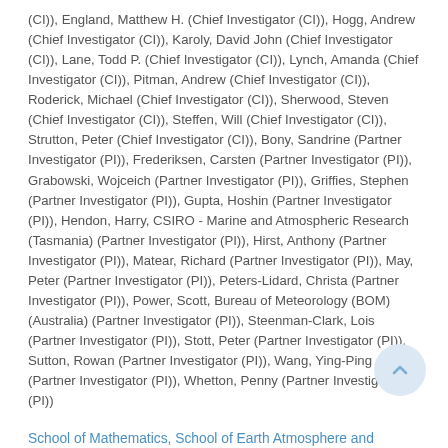(CI)), England, Matthew H. (Chief Investigator (CI)), Hogg, Andrew (Chief Investigator (CI)), Karoly, David John (Chief Investigator (CI)), Lane, Todd P. (Chief Investigator (CI)), Lynch, Amanda (Chief Investigator (CI)), Pitman, Andrew (Chief Investigator (CI)), Roderick, Michael (Chief Investigator (CI)), Sherwood, Steven (Chief Investigator (CI)), Steffen, Will (Chief Investigator (CI)), Strutton, Peter (Chief Investigator (CI)), Bony, Sandrine (Partner Investigator (PI)), Frederiksen, Carsten (Partner Investigator (PI)), Grabowski, Wojceich (Partner Investigator (PI)), Griffies, Stephen (Partner Investigator (PI)), Gupta, Hoshin (Partner Investigator (PI)), Hendon, Harry, CSIRO - Marine and Atmospheric Research (Tasmania) (Partner Investigator (PI)), Hirst, Anthony (Partner Investigator (PI)), Matear, Richard (Partner Investigator (PI)), May, Peter (Partner Investigator (PI)), Peters-Lidard, Christa (Partner Investigator (PI)), Power, Scott, Bureau of Meteorology (BOM) (Australia) (Partner Investigator (PI)), Steenman-Clark, Lois (Partner Investigator (PI)), Stott, Peter (Partner Investigator (PI)), Sutton, Rowan (Partner Investigator (PI)), Wang, Ying-Ping (Partner Investigator (PI)), Whetton, Penny (Partner Investigator (PI))
School of Mathematics, School of Earth Atmosphere and